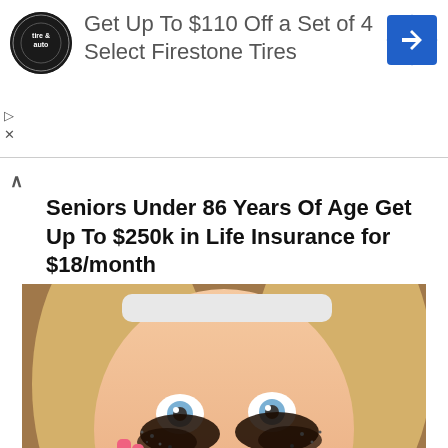[Figure (logo): Firestone tire and auto service circular logo in black and white]
Get Up To $110 Off a Set of 4 Select Firestone Tires
[Figure (illustration): Blue diamond-shaped icon with white arrow pointing right]
Seniors Under 86 Years Of Age Get Up To $250k in Life Insurance for $18/month
Smart Lifestyle Trends
[Figure (photo): Woman with blonde hair applying heavy dramatic eye makeup with glitter/dark powder around her wide open eyes, wearing a white headband and silver earrings, with pink fingernails visible]